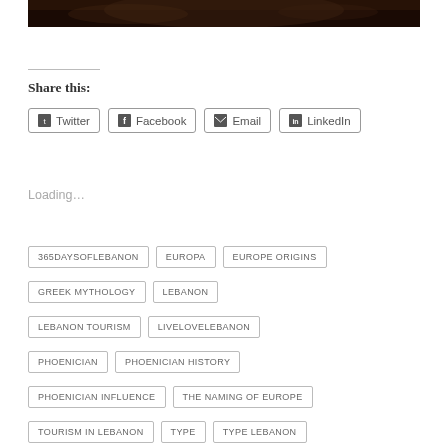[Figure (photo): Dark painting detail at top of page, appears to be classical/baroque artwork with dark tones]
Share this:
Twitter  Facebook  Email  LinkedIn
Loading…
365DAYSOFLEBANON
EUROPA
EUROPE ORIGINS
GREEK MYTHOLOGY
LEBANON
LEBANON TOURISM
LIVELOVELEBANON
PHOENICIAN
PHOENICIAN HISTORY
PHOENICIAN INFLUENCE
THE NAMING OF EUROPE
TOURISM IN LEBANON
TYPE
TYPE LEBANON